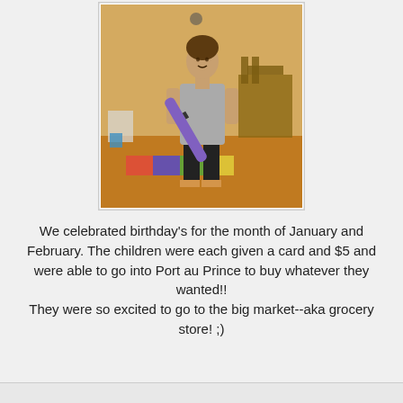[Figure (photo): A woman standing indoors holding a rolled purple yoga mat diagonally across her body. She is wearing a gray t-shirt and black capri pants with flip flops. The floor is wooden/tiled with colorful mats. A dining table and chairs are visible in the background.]
We celebrated birthday's for the month of January and February. The children were each given a card and $5 and were able to go into Port au Prince to buy whatever they wanted!! They were so excited to go to the big market--aka grocery store! ;)